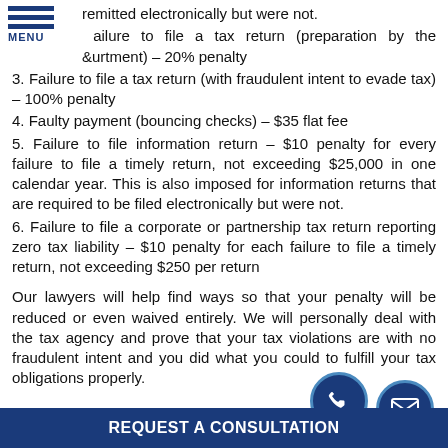MENU
remitted electronically but were not.
Failure to file a tax return (preparation by the Department) – 20% penalty
3. Failure to file a tax return (with fraudulent intent to evade tax) – 100% penalty
4. Faulty payment (bouncing checks) – $35 flat fee
5. Failure to file information return – $10 penalty for every failure to file a timely return, not exceeding $25,000 in one calendar year. This is also imposed for information returns that are required to be filed electronically but were not.
6. Failure to file a corporate or partnership tax return reporting zero tax liability – $10 penalty for each failure to file a timely return, not exceeding $250 per return
Our lawyers will help find ways so that your penalty will be reduced or even waived entirely. We will personally deal with the tax agency and prove that your tax violations are with no fraudulent intent and you did what you could to fulfill your tax obligations properly.
REQUEST A CONSULTATION